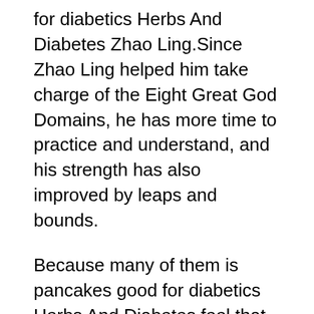for diabetics Herbs And Diabetes Zhao Ling.Since Zhao Ling helped him take charge of the Eight Great God Domains, he has more time to practice and understand, and his strength has also improved by leaps and bounds.
Because many of them is pancakes good for diabetics Herbs And Diabetes feel that what Zhao Ling has done is too much, so they are unwilling.You are really bullying people by doing this A man standing behind him shouted loudly.At this moment, Zhao Ling turned around and looked at it coldly, and instantly waved his sleeve with one hand.
Then he turned into an eminent monk, and said aloud Dragon Subduing Arhat, come and kill the devil.
It should be him, sister, go and inform Emperor Yueming, I will fight him here.Daqing said directly.Sister, let me know, I am here to deal with him.Xiaoqing was worried that Daqing was